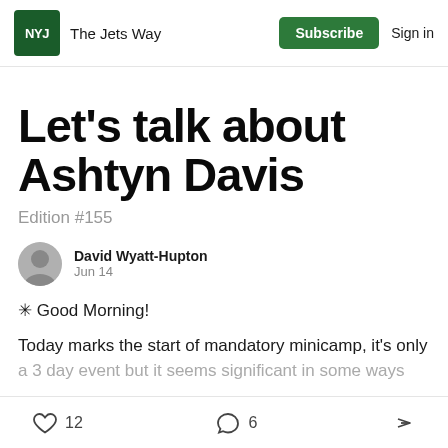NYJ  The Jets Way  Subscribe  Sign in
Let's talk about Ashtyn Davis
Edition #155
David Wyatt-Hupton
Jun 14
☀ Good Morning!
Today marks the start of mandatory minicamp, it's only a 3 day event but it seems significant in some ways…